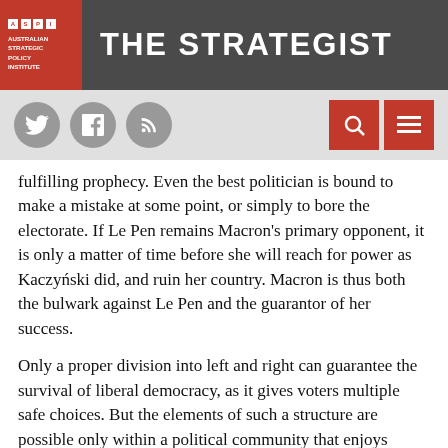THE STRATEGIST — Australian Strategic Policy Institute
[Figure (screenshot): Navigation bar with social media icons (Twitter, Facebook, RSS) on left and search/menu buttons on right]
fulfilling prophecy. Even the best politician is bound to make a mistake at some point, or simply to bore the electorate. If Le Pen remains Macron's primary opponent, it is only a matter of time before she will reach for power as Kaczyński did, and ruin her country. Macron is thus both the bulwark against Le Pen and the guarantor of her success.
Only a proper division into left and right can guarantee the survival of liberal democracy, as it gives voters multiple safe choices. But the elements of such a structure are possible only within a political community that enjoys economic sovereignty, and that will not be possible until we have political globalization. And everything comes full circle.
To discern whether we are seeing the high tide or ebb tide of populism in Europe, the results of individual elections...